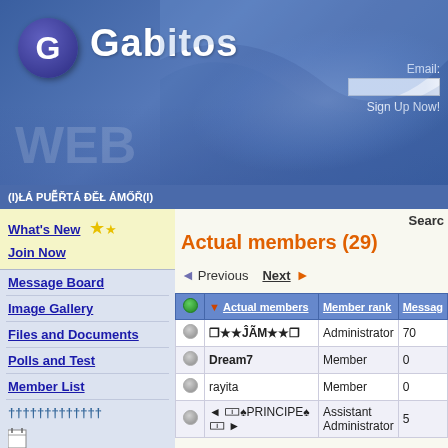[Figure (screenshot): Gabitos website header banner with logo circle containing letter G, site title Gabitos, email input field, Sign Up Now link, and decorative blue gradient background with wave/watermark]
(I)ŁÁ PUẼŘTÁ ĐĚŁ ÁMŐŘ(I)
What's New
Join Now
Message Board
Image Gallery
Files and Documents
Polls and Test
Member List
†††††††††††††
Actual members (29)
◄ Previous  Next ►
|  | ▼ Actual members | Member rank | Messag… |
| --- | --- | --- | --- |
| ● | 🌟★★ĴÃM★★🌟 | Administrator | 70 |
| ○ | Dream7 | Member | 0 |
| ○ | rayita | Member | 0 |
| ○ | ◄ 🎴♠PRINCIPE♠🎴 ► | Assistant Administrator | 5 |